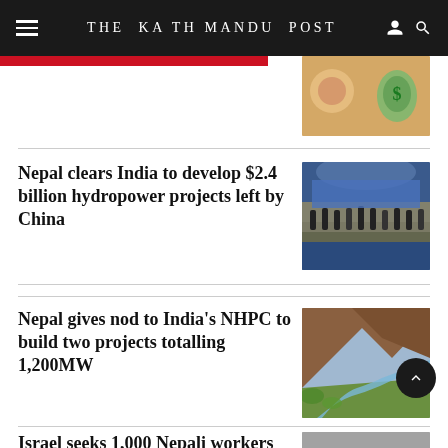THE KATHMANDU POST
[Figure (photo): Thumbnail image partially visible in top right corner]
Nepal clears India to develop $2.4 billion hydropower projects left by China
[Figure (photo): Group of people on a stage at a formal event]
Nepal gives nod to India's NHPC to build two projects totalling 1,200MW
[Figure (photo): Aerial view of a river winding through a mountain valley]
Israel seeks 1,000 Nepali workers to fill its farming job
[Figure (photo): Grey/muted image, partially visible]